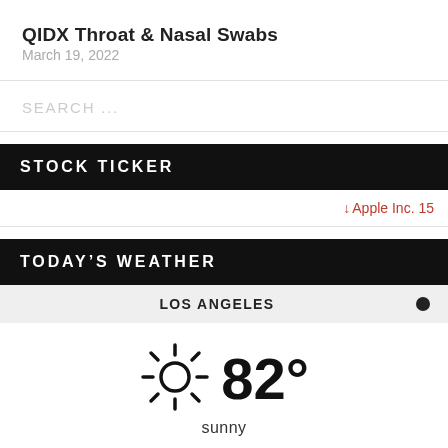QIDX Throat & Nasal Swabs
March 19, 2022
SEARCH ...
STOCK TICKER
↓ Apple Inc. 15
TODAY'S WEATHER
LOS ANGELES
[Figure (infographic): Sun icon with rays indicating sunny weather]
82°
sunny